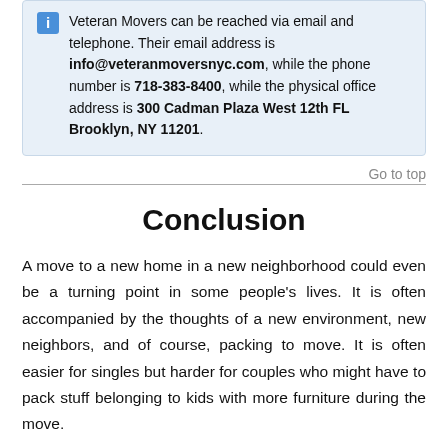Veteran Movers can be reached via email and telephone. Their email address is info@veteranmoversnyc.com, while the phone number is 718-383-8400, while the physical office address is 300 Cadman Plaza West 12th FL Brooklyn, NY 11201.
Go to top
Conclusion
A move to a new home in a new neighborhood could even be a turning point in some people's lives. It is often accompanied by the thoughts of a new environment, new neighbors, and of course, packing to move. It is often easier for singles but harder for couples who might have to pack stuff belonging to kids with more furniture during the move.